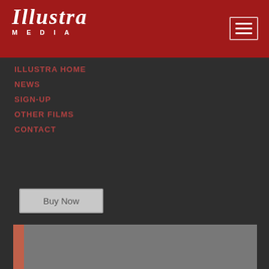Illustra Media — navigation header
[Figure (logo): Illustra Media logo: white serif italic text ILLUSTRA above spaced caps MEDIA on a dark red background]
[Figure (other): Hamburger menu icon: three horizontal white lines in a bordered box]
ILLUSTRA HOME
NEWS
SIGN-UP
OTHER FILMS
CONTACT
Buy Now
[Figure (other): Bottom partial image area with red-orange vertical bar on left and gray rectangle filling the rest]